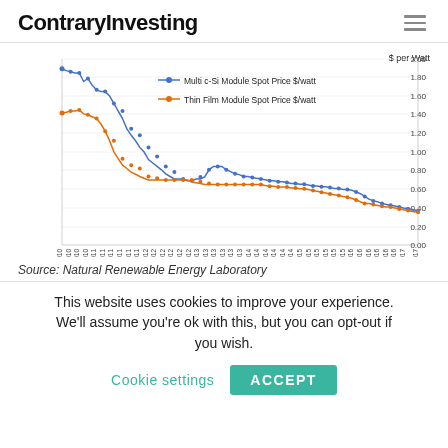ContraryInvesting
[Figure (continuous-plot): Line chart showing two time series from mid-2010 to mid-2017: Multi c-Si Module Spot Price $/watt (blue line with dots, starting ~1.90 and declining to ~0.35) and Thin Film Module Spot Price $/watt (orange line with dots, starting ~1.40 and declining to ~0.35). Y-axis labeled '$ per Watt' ranging from 0.00 to 2.00. X-axis shows dates from 6/2010 to 4/2017.]
Source: Natural Renewable Energy Laboratory
This website uses cookies to improve your experience. We'll assume you're ok with this, but you can opt-out if you wish.
Cookie settings   ACCEPT